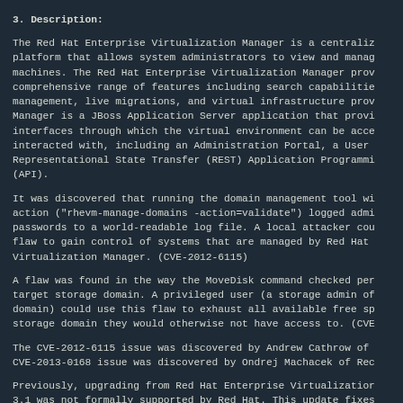3. Description:
The Red Hat Enterprise Virtualization Manager is a centraliz platform that allows system administrators to view and manag machines. The Red Hat Enterprise Virtualization Manager prov comprehensive range of features including search capabilitie management, live migrations, and virtual infrastructure prov Manager is a JBoss Application Server application that provi interfaces through which the virtual environment can be acce interacted with, including an Administration Portal, a User Representational State Transfer (REST) Application Programmi (API).
It was discovered that running the domain management tool wi action ("rhevm-manage-domains -action=validate") logged admi passwords to a world-readable log file. A local attacker cou flaw to gain control of systems that are managed by Red Hat Virtualization Manager. (CVE-2012-6115)
A flaw was found in the way the MoveDisk command checked per target storage domain. A privileged user (a storage admin of domain) could use this flaw to exhaust all available free sp storage domain they would otherwise not have access to. (CVE
The CVE-2012-6115 issue was discovered by Andrew Cathrow of CVE-2013-0168 issue was discovered by Ondrej Machacek of Rec
Previously, upgrading from Red Hat Enterprise Virtualizatior 3.1 was not formally supported by Red Hat. This update fixes known issues with the upgrade process. As a result, upgradir Enterprise Virtualization Manager 3.0 to 3.1 is now supporte